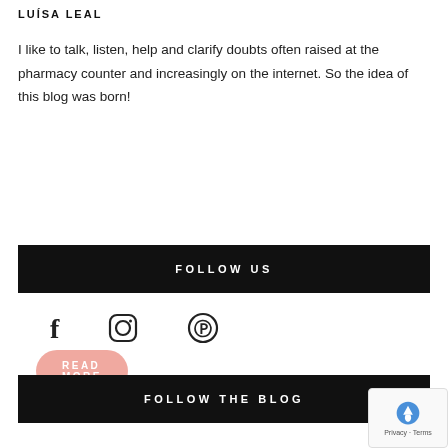LUÍSA LEAL
I like to talk, listen, help and clarify doubts often raised at the pharmacy counter and increasingly on the internet. So the idea of this blog was born!
READ MORE
FOLLOW US
[Figure (infographic): Social media icons: Facebook (f), Instagram (circle with camera), Pinterest (P in circle)]
FOLLOW THE BLOG